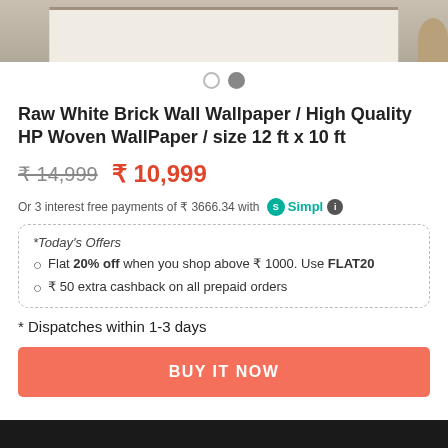[Figure (photo): Product image showing a room interior with furniture (top portion visible)]
● ●
Raw White Brick Wall Wallpaper / High Quality HP Woven WallPaper / size 12 ft x 10 ft
₹ 14,999  ₹ 10,999
Or 3 interest free payments of ₹ 3666.34 with Simpl ℹ
*Today's Offers
• Flat 20% off when you shop above ₹ 1000. Use FLAT20
• ₹ 50 extra cashback on all prepaid orders
* Dispatches within 1-3 days
BUY IT NOW
[Figure (photo): Dark bottom bar / partial image]